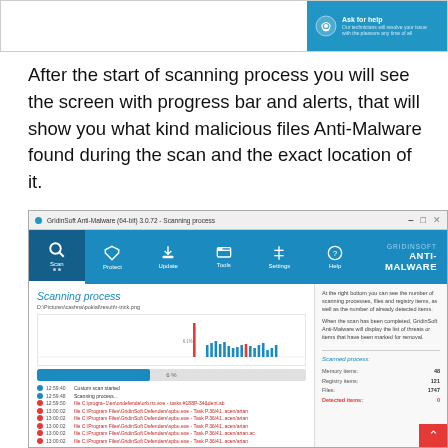[Figure (screenshot): Partial screenshot of GridinSoft Anti-Malware software with Ask for Help button visible at top right.]
After the start of scanning process you will see the screen with progress bar and alerts, that will show you what kind malicious files Anti-Malware found during the scan and the exact location of it.
[Figure (screenshot): Screenshot of GridinSoft Anti-Malware (64-bit) 3.0.72 scanning process window showing: navigation bar with Scan, Protect, Update, Tools, Settings, Help icons and GRIDINSOFT ANTI-MALWARE branding. Main panel shows 'Scanning process' heading, file path D:\Pictures\cashna\pokial\result\r-trick.png, a bar chart visualization, a progress bar at 6%, and log entries showing scan start at 12:59:40, scanning process at 12:59:48, and multiple red error entries for files in C:\Program Files\GridinSoft Defenders\spbu.exe. Right side panel explains scan information and shows Scanned process stats: Memory Items: 48, Registry Items: 121, Files: 1747, Detected Items: 0 (in red).]